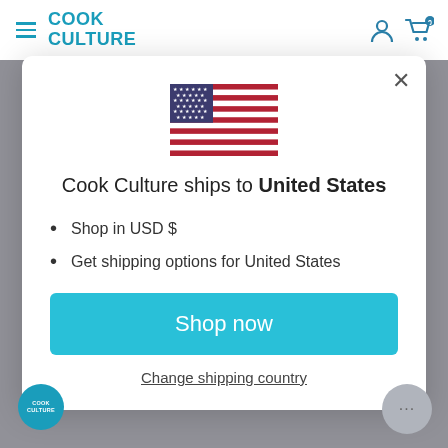COOK CULTURE
[Figure (illustration): United States flag]
Cook Culture ships to United States
Shop in USD $
Get shipping options for United States
Shop now
Change shipping country